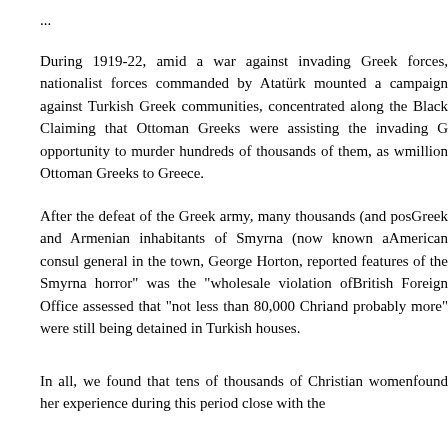...
During 1919-22, amid a war against invading Greek forces, nationalist forces commanded by Atatürk mounted a campaign against Turkish Greek communities, concentrated along the Black... Claiming that Ottoman Greeks were assisting the invading G... opportunity to murder hundreds of thousands of them, as w... million Ottoman Greeks to Greece.
After the defeat of the Greek army, many thousands (and pos... Greek and Armenian inhabitants of Smyrna (now known a... American consul general in the town, George Horton, reporte... features of the Smyrna horror" was the "wholesale violation of... British Foreign Office assessed that "not less than 80,000 Chri... and probably more" were still being detained in Turkish houses...
In all, we found that tens of thousands of Christian women... found her experience during this period close with the...